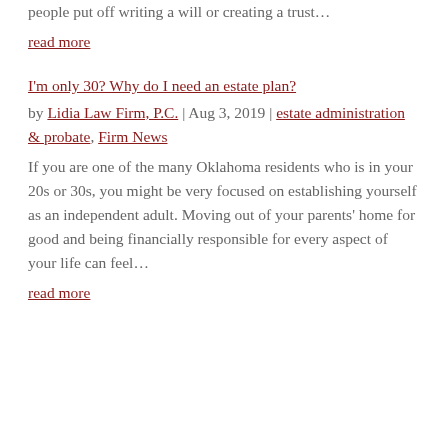people put off writing a will or creating a trust…
read more
I'm only 30? Why do I need an estate plan?
by Lidia Law Firm, P.C. | Aug 3, 2019 | estate administration & probate, Firm News
If you are one of the many Oklahoma residents who is in your 20s or 30s, you might be very focused on establishing yourself as an independent adult. Moving out of your parents' home for good and being financially responsible for every aspect of your life can feel…
read more